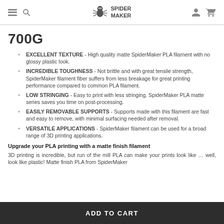SpiderMaker logo header with hamburger menu, search, user, and cart icons
700G
EXCELLENT TEXTURE - High quality matte SpiderMaker PLA filament with no glossy plastic look.
INCREDIBLE TOUGHNESS - Not brittle and with great tensile strength, SpiderMaker filament fiber suffers from less breakage for great printing performance compared to common PLA filament.
LOW STRINGING - Easy to print with less stringing. SpiderMaker PLA matte series saves you time on post-processing.
EASILY REMOVABLE SUPPORTS - Supports made with this filament are fast and easy to remove, with minimal surfacing needed after removal.
VERSATILE APPLICATIONS - SpiderMaker filament can be used for a broad range of 3D printing applications.
Upgrade your PLA printing with a matte finish filament
3D printing is incredible, but run of the mill PLA can make your prints look like … well, look like plastic! Matte finish PLA from SpiderMaker
ADD TO CART